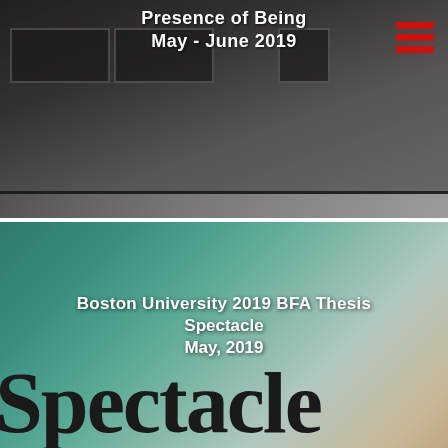[Figure (photo): Gallery/exhibition space with dark walls, framed artworks, and a hard floor. White text overlay shows 'Presence of Being / May - June 2019'. Red hamburger menu icon in top-right corner.]
Presence of Being
May - June 2019
[Figure (photo): Close-up photo of a sign with large black 'Spectacle' text on a teal/green-gray gradient background. White text overlay reads 'Boston University 2019 BFA Thesis Spectacle May, 2019'.]
Boston University 2019 BFA Thesis
Spectacle
May, 2019